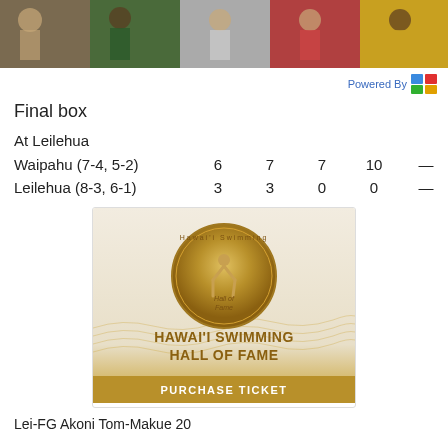[Figure (photo): Collage of athletes in sports action photos at top of page]
Powered By
Final box
At Leilehua
| Waipahu (7-4, 5-2) | 6 | 7 | 7 | 10 | — | 29 |
| Leilehua (8-3, 6-1) | 3 | 3 | 0 | 0 | — | 6 |
[Figure (photo): Hawai'i Swimming Hall of Fame advertisement with bronze medal image and Purchase Ticket button]
Lei-FG Akoni Tom-Makue 20